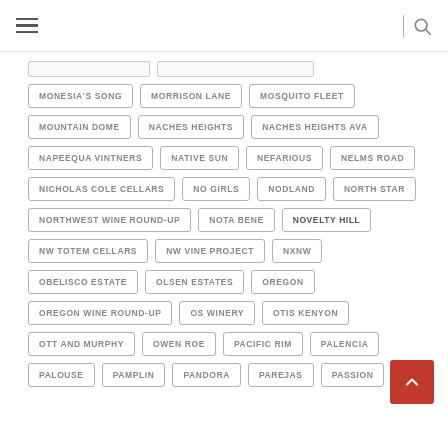Navigation header with hamburger menu and search icon
MONESIA'S SONG
MORRISON LANE
MOSQUITO FLEET
MOUNTAIN DOME
NACHES HEIGHTS
NACHES HEIGHTS AVA
NAPEEQUA VINTNERS
NATIVE SUN
NEFARIOUS
NELMS ROAD
NICHOLAS COLE CELLARS
NO GIRLS
NODLAND
NORTH STAR
NORTHWEST WINE ROUND-UP
NOTA BENE
NOVELTY HILL
NW TOTEM CELLARS
NW VINE PROJECT
NXNW
OBELISCO ESTATE
OLSEN ESTATES
OREGON
OREGON WINE ROUND-UP
OS WINERY
OTIS KENYON
OTT AND MURPHY
OWEN ROE
PACIFIC RIM
PALENCIA
PALOUSE
PAMPLIN
PANDORA
PAREJAS
PASSION